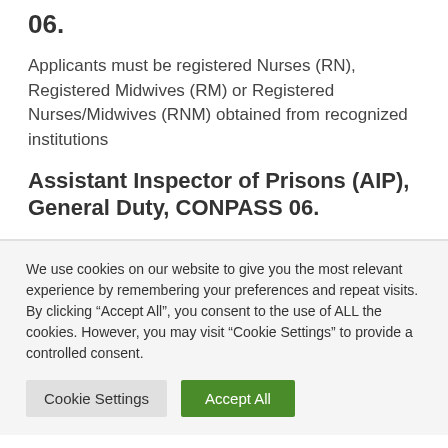06.
Applicants must be registered Nurses (RN), Registered Midwives (RM) or Registered Nurses/Midwives (RNM) obtained from recognized institutions
Assistant Inspector of Prisons (AIP), General Duty, CONPASS 06.
We use cookies on our website to give you the most relevant experience by remembering your preferences and repeat visits. By clicking “Accept All”, you consent to the use of ALL the cookies. However, you may visit “Cookie Settings” to provide a controlled consent.